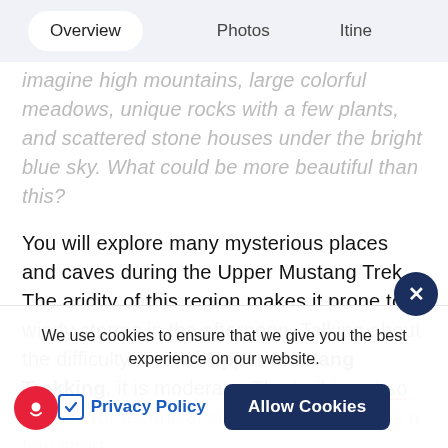Overview   Photos   Itine
imagine high mountains, large colorful meadows, unique rocks with a few plants, and scattered stone houses under the bright blue sky. What could be more beautiful than this?
You will explore many mysterious places and caves during the Upper Mustang Trek. The aridity of this region makes it prone to windy storms in the afternoon. Talking about the difficulty level of Upper Mustang Trekking, it is moderate. The trail is not so difficult for technical climbing and includes a few short stiff inclines that needs some fitness to the trip. In you walked into deep canyons, grassland and villages during this trekking and
We use cookies to ensure that we give you the best experience on our website.
Privacy Policy   Allow Cookies